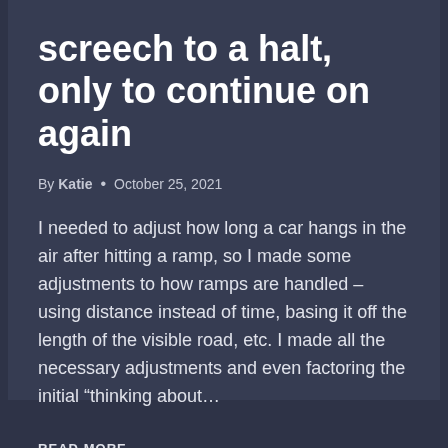screech to a halt, only to continue on again
By Katie  •  October 25, 2021
I needed to adjust how long a car hangs in the air after hitting a ramp, so I made some adjustments to how ramps are handled – using distance instead of time, basing it off the length of the visible road, etc. I made all the necessary adjustments and even factoring the initial “thinking about…
READ MORE →